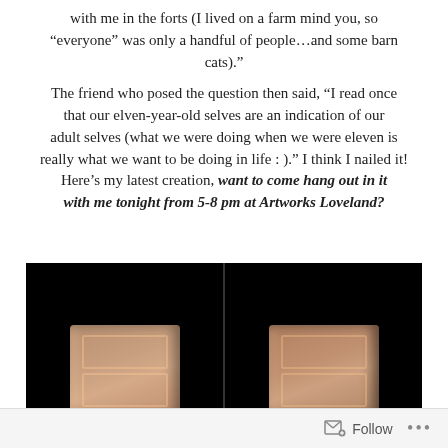with me in the forts (I lived on a farm mind you, so “everyone” was only a handful of people…and some barn cats).”
The friend who posed the question then said, “I read once that our elven-year-old selves are an indication of our adult selves (what we were doing when we were eleven is really what we want to be doing in life : ).” I think I nailed it! Here’s my latest creation, want to come hang out in it with me tonight from 5-8 pm at Artworks Loveland?
[Figure (photo): Two side-by-side dark photographs showing interior views of a wooden fort or structure with door panels visible against a black background.]
Follow  ...